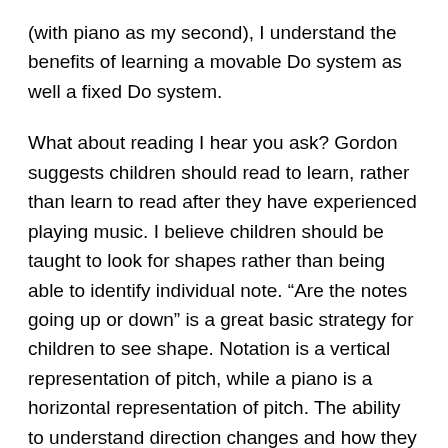(with piano as my second), I understand the benefits of learning a movable Do system as well a fixed Do system.
What about reading I hear you ask? Gordon suggests children should read to learn, rather than learn to read after they have experienced playing music. I believe children should be taught to look for shapes rather than being able to identify individual note. “Are the notes going up or down” is a great basic strategy for children to see shape. Notation is a vertical representation of pitch, while a piano is a horizontal representation of pitch. The ability to understand direction changes and how they relate in a different physical plane require complex cognitive skills. Pitch direction changes are